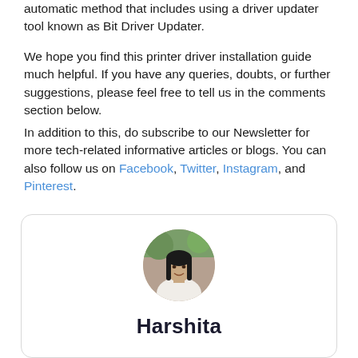automatic method that includes using a driver updater tool known as Bit Driver Updater.
We hope you find this printer driver installation guide much helpful. If you have any queries, doubts, or further suggestions, please feel free to tell us in the comments section below.
In addition to this, do subscribe to our Newsletter for more tech-related informative articles or blogs. You can also follow us on Facebook, Twitter, Instagram, and Pinterest.
[Figure (photo): Circular profile photo of author Harshita]
Harshita